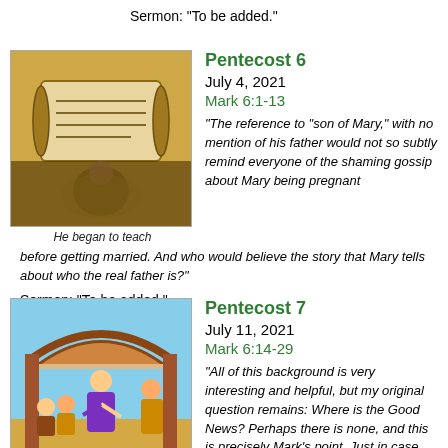Sermon: "To be added."
Pentecost 6
July 4, 2021
Mark 6:1-13
[Figure (illustration): Ancient scroll illustration with golden background and a figure]
He began to teach
"The reference to "son of Mary," with no mention of his father would not so subtly remind everyone of the shaming gossip about Mary being pregnant before getting married. And who would believe the story that Mary tells about who the real father is?"
Sermon: "To be added."
Pentecost 7
July 11, 2021
Mark 6:14-29
[Figure (illustration): Cartoon illustration of Herod's daughter coming in and dancing, with figures under an arch]
Herod's daughter came in and danced
"All of this background is very interesting and helpful, but my original question remains: Where is the Good News? Perhaps there is none, and this is precisely Mark's point. Just in case we are getting too excited and thinking this business of being a disciple of